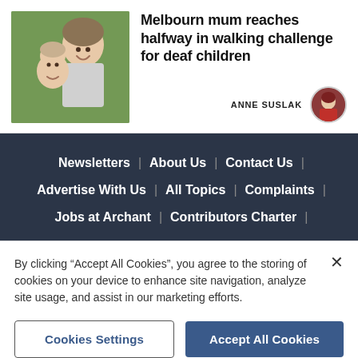[Figure (photo): Photo of a smiling woman with a baby/toddler outdoors]
Melbourn mum reaches halfway in walking challenge for deaf children
ANNE SUSLAK
[Figure (photo): Small circular avatar photo of Anne Suslak]
Newsletters | About Us | Contact Us | Advertise With Us | All Topics | Complaints | Jobs at Archant | Contributors Charter |
By clicking “Accept All Cookies”, you agree to the storing of cookies on your device to enhance site navigation, analyze site usage, and assist in our marketing efforts.
Cookies Settings
Accept All Cookies